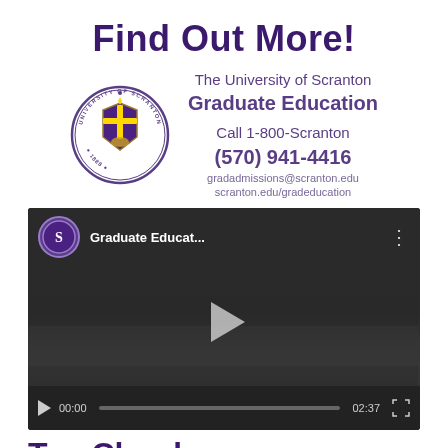Find Out More!
[Figure (logo): University of Scranton circular seal/logo with cross and shield]
The University of Scranton
Graduate Education
Call 1-800-Scranton
(570) 941-4416
gradadmissions@scranton.edu
scranton.edu/gradeducation
[Figure (screenshot): Embedded video player showing University of Scranton Graduate Education video, paused at 00:00, total duration 02:37, with play button and video controls visible]
Tag Cloud